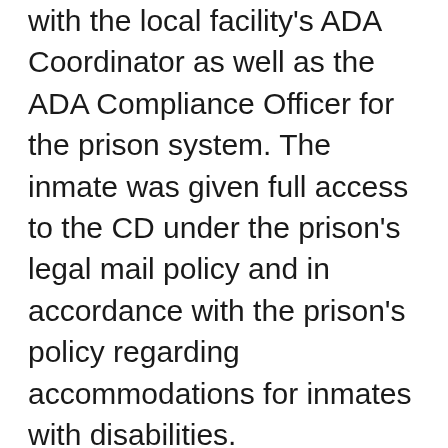with the local facility's ADA Coordinator as well as the ADA Compliance Officer for the prison system. The inmate was given full access to the CD under the prison's legal mail policy and in accordance with the prison's policy regarding accommodations for inmates with disabilities.
An inmate with a hearing impairment contacted Disability Rights Vermont because the prison had denied him hearing aids. The P&A met with the prison, which reported that the inmate's